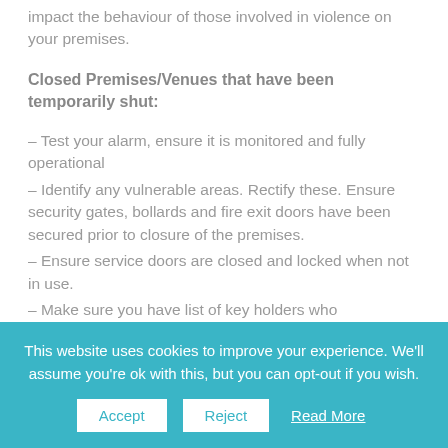impact the behaviour of those involved in violence on your premises.
Closed Premises/Venues that have been temporarily shut:
– Test your alarm, ensure it is monitored and fully operational
– Identify any vulnerable areas. Rectify these. Ensure security gates, bollards and fire exit doors have been secured prior to closure of the premises.
– Ensure service doors are closed and locked when not in use.
– Make sure you have list of key holders who
This website uses cookies to improve your experience. We'll assume you're ok with this, but you can opt-out if you wish.